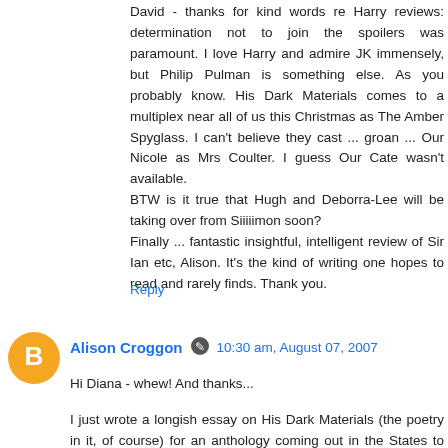David - thanks for kind words re Harry reviews: determination not to join the spoilers was paramount. I love Harry and admire JK immensely, but Philip Pulman is something else. As you probably know. His Dark Materials comes to a multiplex near all of us this Christmas as The Amber Spyglass. I can't believe they cast ... groan ... Our Nicole as Mrs Coulter. I guess Our Cate wasn't available. BTW is it true that Hugh and Deborra-Lee will be taking over from Siiiiimon soon? Finally ... fantastic insightful, intelligent review of Sir Ian etc, Alison. It's the kind of writing one hopes to read and rarely finds. Thank you.
Reply
Alison Croggon   10:30 am, August 07, 2007
Hi Diana - whew! And thanks...
I just wrote a longish essay on His Dark Materials (the poetry in it, of course) for an anthology coming out in the States to coincide with the film - The Golden Compass, actually, though I don't know whether it's just Book 1, better